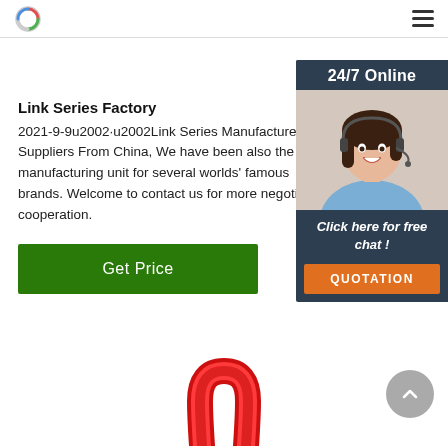Logo and navigation menu
Link Series Factory
2021-9-9u2002·u2002Link Series Manufacturers, Suppliers From China, We have been also the approved manufacturing unit for several worlds' famous brands. Welcome to contact us for more negotiation and cooperation.
[Figure (screenshot): Green 'Get Price' button]
[Figure (illustration): 24/7 Online chat widget with woman wearing headset, 'Click here for free chat!' text, and orange QUOTATION button]
[Figure (photo): Red metal shackle or link hardware product, partially visible at bottom of page]
[Figure (other): Gray circular scroll-to-top button with upward chevron arrow]